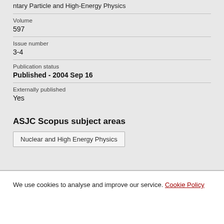ntary Particle and High-Energy Physics
Volume
597
Issue number
3-4
Publication status
Published - 2004 Sep 16
Externally published
Yes
ASJC Scopus subject areas
Nuclear and High Energy Physics
We use cookies to analyse and improve our service. Cookie Policy